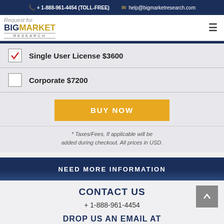+ 1-888-961-4454 (TOLL-FREE)  help@bigmarketresearch.com
[Figure (logo): BigMarket Research logo with 'Request for' text above and hamburger menu icon to the right]
✓ Single User License $3600
☐ Corporate $7200
BUY NOW
* Taxes/Fees, If applicable will be added during checkout. All prices in USD.
NEED MORE INFORMATION
CONTACT US
+ 1-888-961-4454
DROP US AN EMAIL AT
help@bigmarketresearch.com